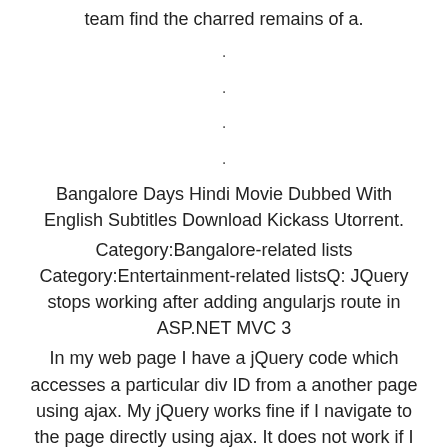team find the charred remains of a.
.
.
.
.
Bangalore Days Hindi Movie Dubbed With English Subtitles Download Kickass Utorrent.
Category:Bangalore-related lists Category:Entertainment-related listsQ: JQuery stops working after adding angularjs route in ASP.NET MVC 3
In my web page I have a jQuery code which accesses a particular div ID from a another page using ajax. My jQuery works fine if I navigate to the page directly using ajax. It does not work if I go to a particular page first and then access the div using jQuery.
Here is my jQuery function that works fine when the page is loaded directly.
$("#pagination").click(function () {